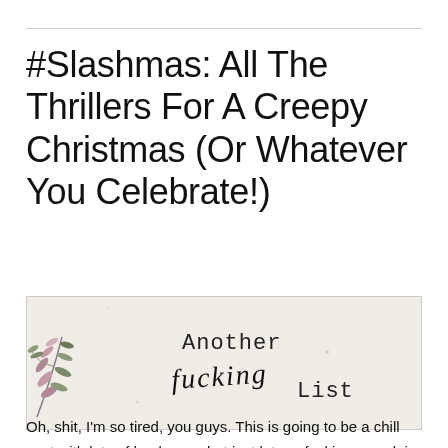#Slashmas: All The Thrillers For A Creepy Christmas (Or Whatever You Celebrate!)
[Figure (illustration): Decorative banner image with botanical/floral elements on left side, textured paper background, reading 'Another Fucking List' where 'Another' and 'List' are in typewriter font and 'Fucking' is in cursive script]
Oh, shit, I'm so tired, you guys. This is going to be a chill post with lots of book recs, but just let me fucking complain for a hot minute.
If you've not been living under a rock, you'll notice that the...